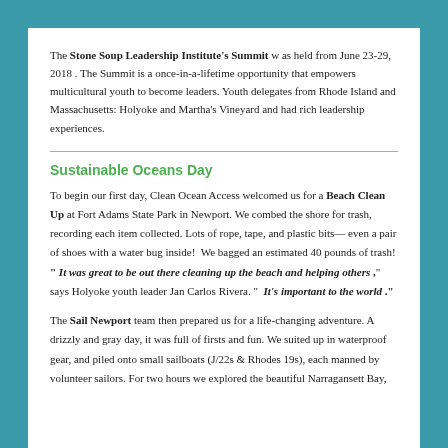The Stone Soup Leadership Institute's Summit w as held from June 23-29, 2018 . The Summit is a once-in-a-lifetime opportunity that empowers multicultural youth to become leaders. Youth delegates from Rhode Island and Massachusetts: Holyoke and Martha's Vineyard and had rich leadership experiences.
Sustainable Oceans Day
To begin our first day, Clean Ocean Access welcomed us for a Beach Clean Up at Fort Adams State Park in Newport. We combed the shore for trash, recording each item collected. Lots of rope, tape, and plastic bits— even a pair of shoes with a water bug inside!  We bagged an estimated 40 pounds of trash! " It was great to be out there cleaning up the beach and helping others ," says Holyoke youth leader Jan Carlos Rivera. "  It's important to the world ."
The Sail Newport team then prepared us for a life-changing adventure. A drizzly and gray day, it was full of firsts and fun. We suited up in waterproof gear, and piled onto small sailboats (J/22s & Rhodes 19s), each manned by volunteer sailors. For two hours we explored the beautiful Narragansett Bay,